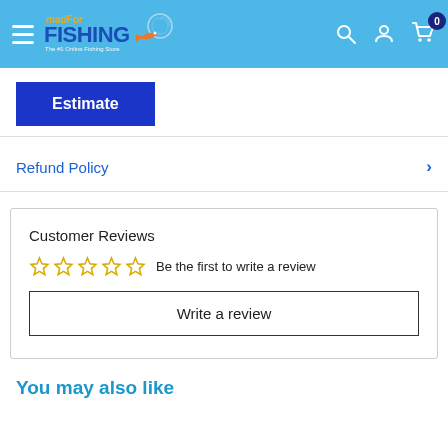MadForFishing.com - The #1 Online Fishing Store
Estimate
Refund Policy
Customer Reviews
Be the first to write a review
Write a review
You may also like